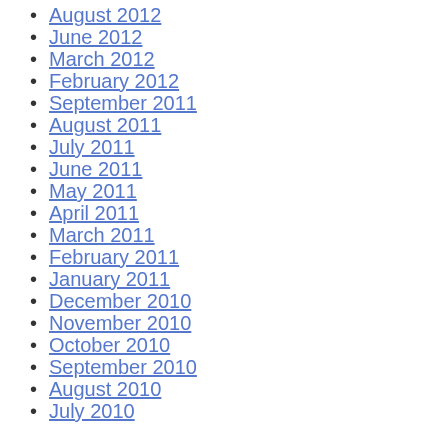August 2012
June 2012
March 2012
February 2012
September 2011
August 2011
July 2011
June 2011
May 2011
April 2011
March 2011
February 2011
January 2011
December 2010
November 2010
October 2010
September 2010
August 2010
July 2010